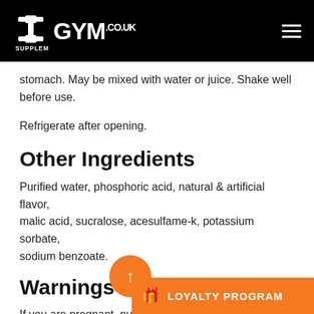GYM SUPPLEMENTS .CO.UK
stomach. May be mixed with water or juice. Shake well before use.
Refrigerate after opening.
Other Ingredients
Purified water, phosphoric acid, natural & artificial flavor, malic acid, sucralose, acesulfame-k, potassium sorbate, sodium benzoate.
Warnings
If you are pregnant, nursing, taking any medications or have any medical condition, consult a doctor before use. Discontinue use and consult your doctor if any adverse reactions occur. Not intended...